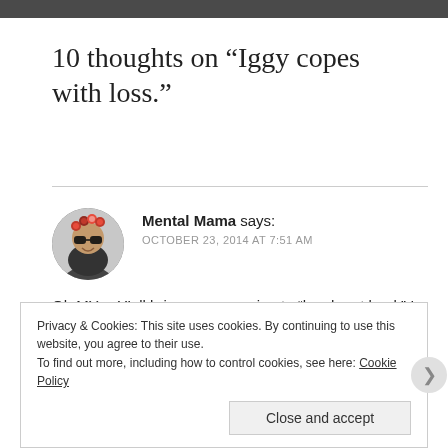10 thoughts on “Iggy copes with loss.”
Mental Mama says:
OCTOBER 23, 2014 AT 7:51 AM

Oh MY… Y’all bring new meaning to “laugh out loud.” I almost needed a Depends for that one. 🙂
Privacy & Cookies: This site uses cookies. By continuing to use this website, you agree to their use.
To find out more, including how to control cookies, see here: Cookie Policy
Close and accept